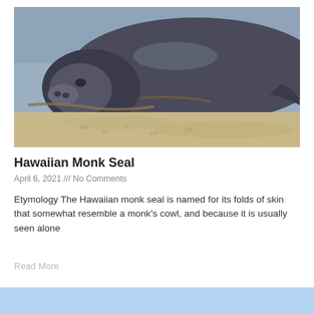[Figure (photo): A Hawaiian monk seal lying on sandy beach, close-up of its face and body, gray/dark coloring, photographed in sunlight.]
Hawaiian Monk Seal
April 6, 2021 /// No Comments
Etymology The Hawaiian monk seal is named for its folds of skin that somewhat resemble a monk's cowl, and because it is usually seen alone
Read More